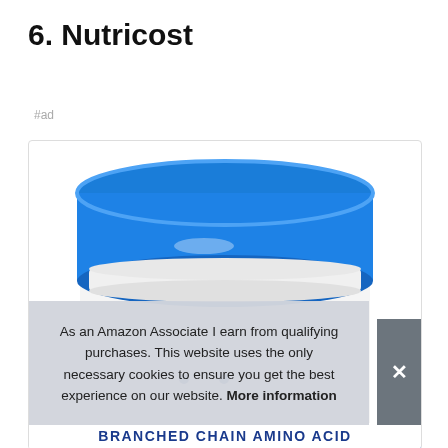6. Nutricost
#ad
[Figure (photo): Product photo of a Nutricost supplement container with a blue lid on a white body, partially showing the label. Overlay shows a cookie consent notice reading: As an Amazon Associate I earn from qualifying purchases. This website uses the only necessary cookies to ensure you get the best experience on our website. More information]
As an Amazon Associate I earn from qualifying purchases. This website uses the only necessary cookies to ensure you get the best experience on our website. More information
BRANCHED CHAIN AMINO ACID